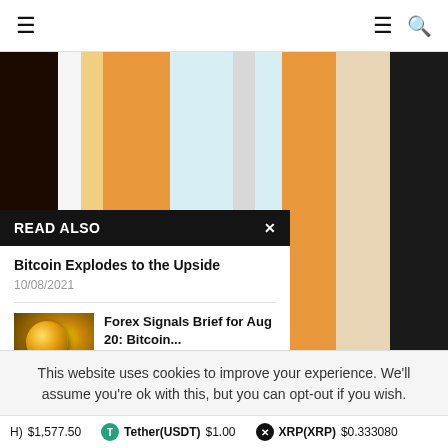Navigation bar with hamburger menu and search icon
[Figure (illustration): Colorful vertical stripe background image with dark brown, cream, orange, light blue, gray, and dark navy bands]
READ ALSO
Bitcoin Explodes to the Upside
10/08/2021
[Figure (photo): Gold bitcoin coin on a dark background]
Forex Signals Brief for Aug 20: Bitcoin...
20/08/2021
This website uses cookies to improve your experience. We'll assume you're ok with this, but you can opt-out if you wish.
H) $1,577.50   Tether(USDT) $1.00   XRP(XRP) $0.333080